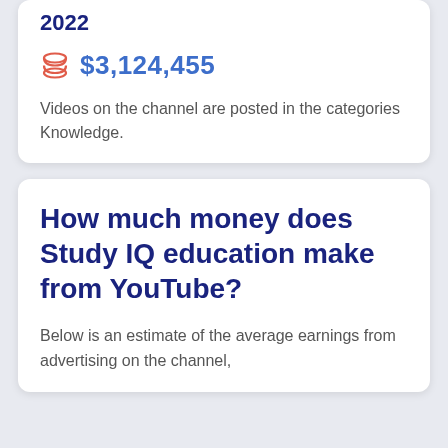2022
$3,124,455
Videos on the channel are posted in the categories Knowledge.
How much money does Study IQ education make from YouTube?
Below is an estimate of the average earnings from advertising on the channel,